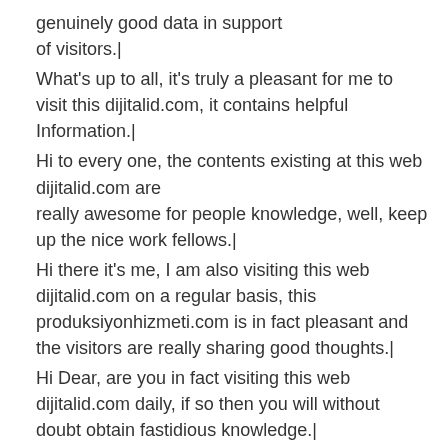genuinely good data in support of visitors.|
What's up to all, it's truly a pleasant for me to visit this dijitalid.com, it contains helpful Information.|
Hi to every one, the contents existing at this web dijitalid.com are really awesome for people knowledge, well, keep up the nice work fellows.|
Hi there it's me, I am also visiting this web dijitalid.com on a regular basis, this produksiyonhizmeti.com is in fact pleasant and the visitors are really sharing good thoughts.|
Hi Dear, are you in fact visiting this web dijitalid.com daily, if so then you will without doubt obtain fastidious knowledge.|
Hi there i am kavin, its my first occasion to commenting anywhere, when i read this piece of writing i thought i could also create comment due to this brilliant